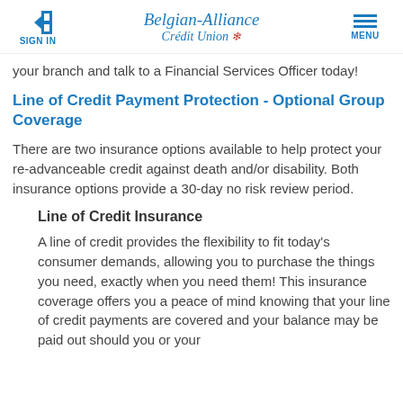SIGN IN | Belgian-Alliance Credit Union | MENU
your branch and talk to a Financial Services Officer today!
Line of Credit Payment Protection - Optional Group Coverage
There are two insurance options available to help protect your re-advanceable credit against death and/or disability. Both insurance options provide a 30-day no risk review period.
Line of Credit Insurance
A line of credit provides the flexibility to fit today's consumer demands, allowing you to purchase the things you need, exactly when you need them! This insurance coverage offers you a peace of mind knowing that your line of credit payments are covered and your balance may be paid out should you or your